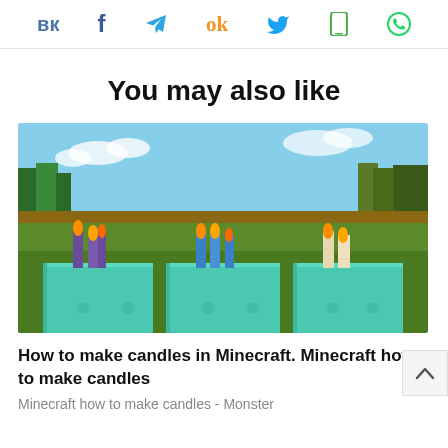VK | f | Telegram | OK | Twitter | Phone | WhatsApp
You may also like
[Figure (screenshot): Minecraft screenshot showing three groups of coloured candles (purple, blue, and beige/white) lit with flames, placed on teal/cyan blocks in a grassy Minecraft landscape with trees and sky in the background.]
How to make candles in Minecraft. Minecraft how to make candles
Minecraft how to make candles - Monster